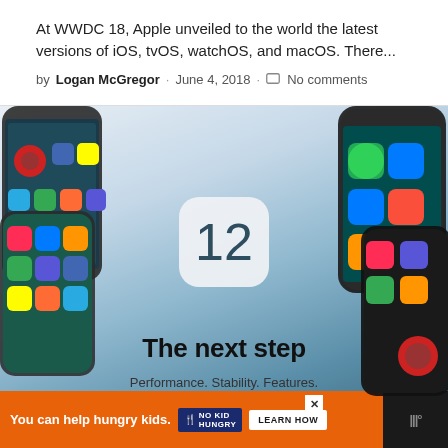At WWDC 18, Apple unveiled to the world the latest versions of iOS, tvOS, watchOS, and macOS. There...
by Logan McGregor · June 4, 2018 · No comments
[Figure (photo): iOS 12 promotional image showing multiple iPhone X devices with app icons arranged around a central iOS 12 app icon. Text reads 'The next step' and 'Performance. Stability. Features.' on a teal/blue gradient background.]
You can help hungry kids. NO KID HUNGRY LEARN HOW